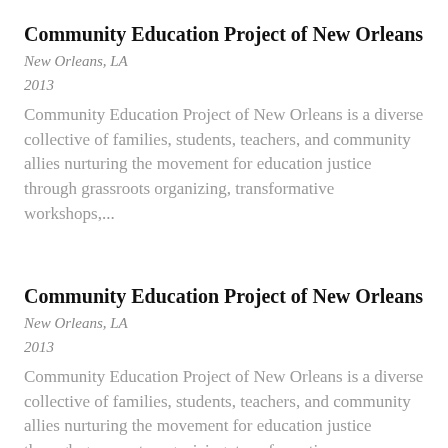Community Education Project of New Orleans
New Orleans, LA
2013
Community Education Project of New Orleans is a diverse collective of families, students, teachers, and community allies nurturing the movement for education justice through grassroots organizing, transformative workshops,...
Community Education Project of New Orleans
New Orleans, LA
2013
Community Education Project of New Orleans is a diverse collective of families, students, teachers, and community allies nurturing the movement for education justice through grassroots organizing, transformative